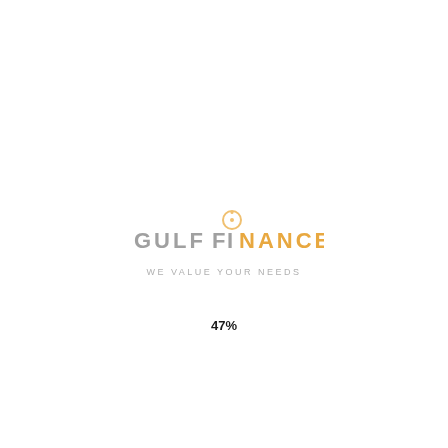[Figure (logo): Gulf Finance logo with circular clock/coin icon in gold/orange, text 'GULF FINANCE' in gray and orange, tagline 'WE VALUE YOUR NEEDS' in light gray]
47%